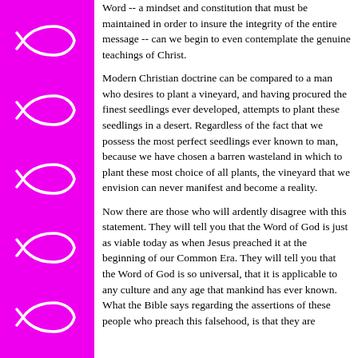[Figure (illustration): Magenta/pink sidebar with five white fish (ichthys) symbols arranged vertically]
Word -- a mindset and constitution that must be maintained in order to insure the integrity of the entire message -- can we begin to even contemplate the genuine teachings of Christ.

Modern Christian doctrine can be compared to a man who desires to plant a vineyard, and having procured the finest seedlings ever developed, attempts to plant these seedlings in a desert. Regardless of the fact that we possess the most perfect seedlings ever known to man, because we have chosen a barren wasteland in which to plant these most choice of all plants, the vineyard that we envision can never manifest and become a reality.

Now there are those who will ardently disagree with this statement. They will tell you that the Word of God is just as viable today as when Jesus preached it at the beginning of our Common Era. They will tell you that the Word of God is so universal, that it is applicable to any culture and any age that mankind has ever known. What the Bible says regarding the assertions of these people who preach this falsehood, is that they are